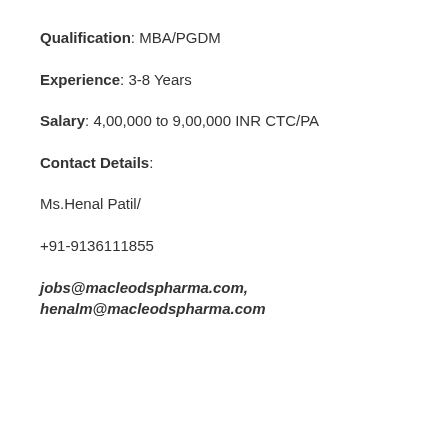Qualification: MBA/PGDM
Experience: 3-8 Years
Salary: 4,00,000 to 9,00,000 INR CTC/PA
Contact Details:
Ms.Henal Patil/
+91-9136111855
jobs@macleodspharma.com, henalm@macleodspharma.com